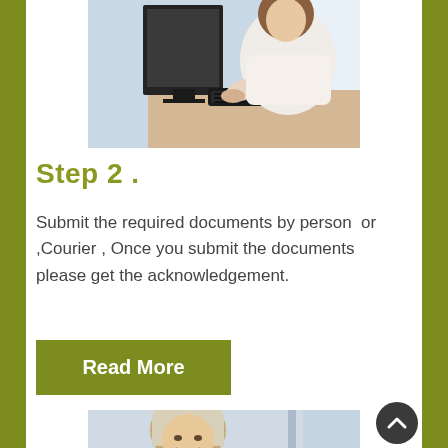[Figure (photo): A woman in a white sleeveless top typing on a computer keyboard at a desk, viewed from slightly above and to the side.]
Step 2 .
Submit the required documents by person  or ,Courier , Once you submit the documents please get the acknowledgement.
Read More
[Figure (photo): A smiling older woman with blonde/white hair, partially visible, in a bright setting.]